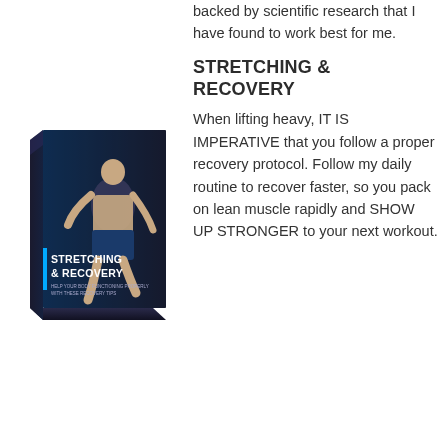backed by scientific research that I have found to work best for me.
[Figure (illustration): Book cover for 'Stretching & Recovery' showing a muscular man in athletic pose on a dark background, with the title text in white and blue]
STRETCHING & RECOVERY
When lifting heavy, IT IS IMPERATIVE that you follow a proper recovery protocol. Follow my daily routine to recover faster, so you pack on lean muscle rapidly and SHOW UP STRONGER to your next workout.